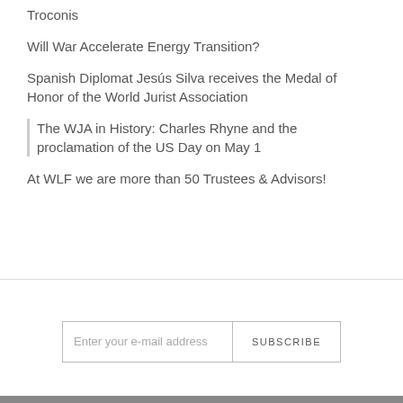Troconis
Will War Accelerate Energy Transition?
Spanish Diplomat Jesús Silva receives the Medal of Honor of the World Jurist Association
The WJA in History: Charles Rhyne and the proclamation of the US Day on May 1
At WLF we are more than 50 Trustees & Advisors!